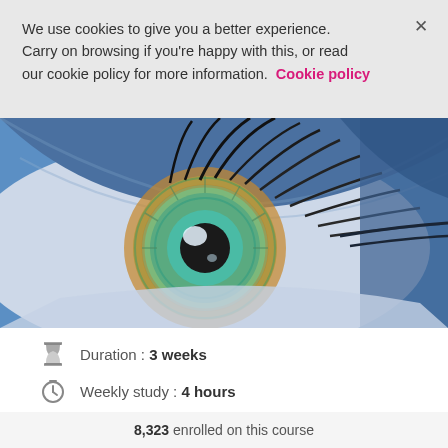We use cookies to give you a better experience. Carry on browsing if you're happy with this, or read our cookie policy for more information. Cookie policy
[Figure (photo): Close-up macro photograph of a human eye with green and amber iris, blue eyelid skin, and dark eyelashes, set against blue background]
Duration : 3 weeks
Weekly study : 4 hours
8,323 enrolled on this course